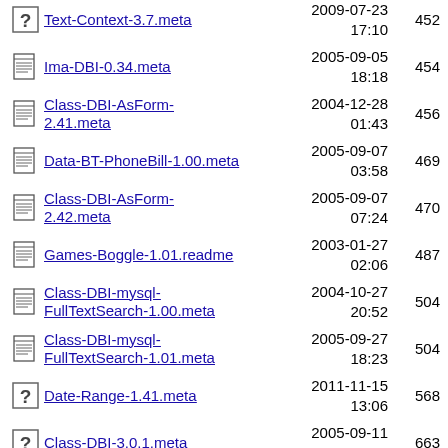Text-Context-3.7.meta  2009-07-23 17:10  452
Ima-DBI-0.34.meta  2005-09-05 18:18  454
Class-DBI-AsForm-2.41.meta  2004-12-28 01:43  456
Data-BT-PhoneBill-1.00.meta  2005-09-07 03:58  469
Class-DBI-AsForm-2.42.meta  2005-09-07 07:24  470
Games-Boggle-1.01.readme  2003-01-27 02:06  487
Class-DBI-mysql-FullTextSearch-1.00.meta  2004-10-27 20:52  504
Class-DBI-mysql-FullTextSearch-1.01.meta  2005-09-27 18:23  504
Date-Range-1.41.meta  2011-11-15 13:06  568
Class-DBI-3.0.1.meta  2005-09-11 19:06  663
Class-DBI-3.0.2.meta  2005-09-11 21:31  700